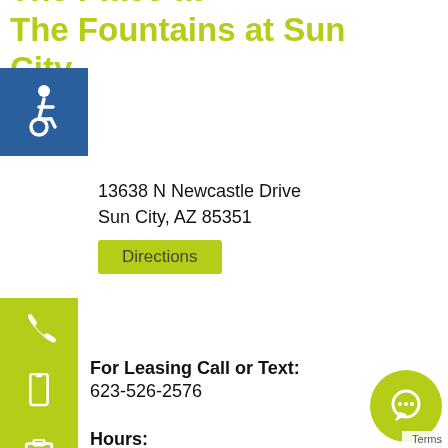The Place at The Fountains at Sun City
[Figure (illustration): Wheelchair accessibility icon — white symbol on blue background]
13638 N Newcastle Drive
Sun City, AZ 85351
Directions
[Figure (illustration): Phone handset icon on yellow-green background]
For Leasing Call or Text:
623-526-2576
[Figure (illustration): Mobile phone icon on yellow-green background]
Hours:
Mon-Fri: 10AM – 5PM
Sat: 10AM – 5PM
Sun: CLOSED
[Figure (illustration): Chat bubble icon on yellow-green circular background]
Terms